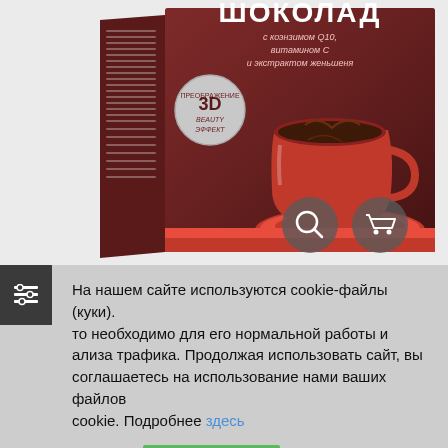[Figure (photo): Product box of chocolate drink (Шоколад) with coenzyme Q10, vitamin C and ginseng extract. Brown box with red cup of hot chocolate on the front, '3D Beauty Effect' badge. Two gray circular icon buttons (search and cart) overlaid at bottom of image.]
На нашем сайте используются cookie-файлы (куки). Это необходимо для его нормальной работы и анализа трафика. Продолжая использовать сайт, вы соглашаетесь на использование нами ваших файлов cookie. Подробнее здесь
Cookie settings  ПРИНЯТЬ